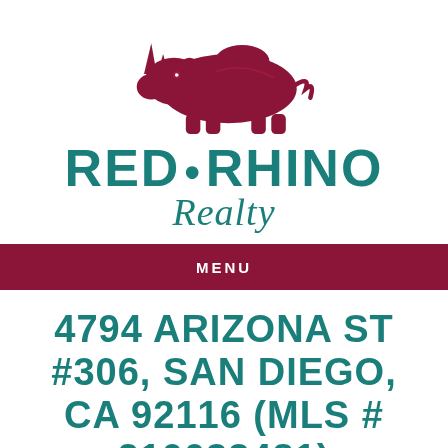[Figure (logo): Red Rhino Realty logo with dark red/maroon rhinoceros silhouette above the brand name]
RED • RHINO Realty
MENU
4794 ARIZONA ST #306, SAN DIEGO, CA 92116 (MLS # 210033481)